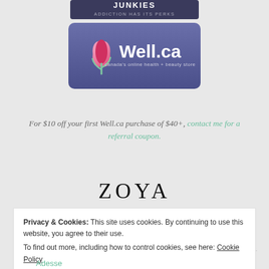[Figure (logo): Nail Junkies logo - dark background with text 'JUNKIES ADDICTION HAS ITS PERKS']
[Figure (logo): Well.ca logo - purple/blue rounded rectangle with tulip icon and text 'Well.ca canada's online health + beauty store']
For $10 off your first Well.ca purchase of $40+, contact me for a referral coupon.
[Figure (logo): ZOYA text logo in black serif lettering]
BRANDS
Privacy & Cookies: This site uses cookies. By continuing to use this website, you agree to their use.
To find out more, including how to control cookies, see here: Cookie Policy
Close and accept
Adesse